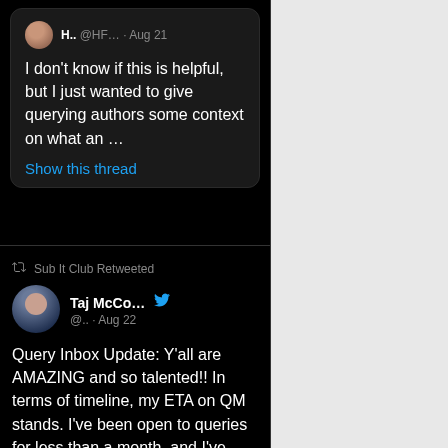[Figure (screenshot): Twitter/social media screenshot showing two tweets on a dark background. First tweet from H.. @HF... on Aug 21 reads: 'I don't know if this is helpful, but I just wanted to give querying authors some context on what an ...' with a 'Show this thread' link and reply/like icons. Second tweet is retweeted by Sub It Club, from Taj McCo... @.. on Aug 22 reading: 'Query Inbox Update: Y'all are AMAZING and so talented!! In terms of timeline, my ETA on QM stands. I've been open to queries for less than a month, and I've received']